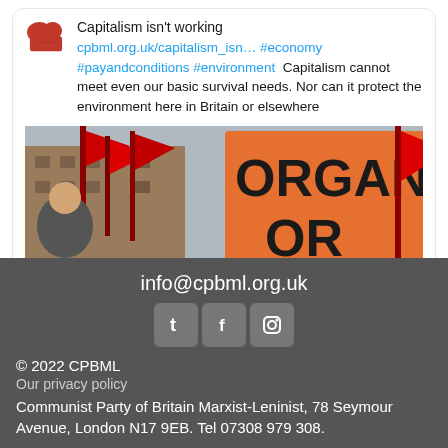Capitalism isn't working cpbml.org.uk/capitalism_isn… #economy #payandconditions #environment Capitalism cannot meet even our basic survival needs. Nor can it protect the environment here in Britain or elsewhere
[Figure (photo): Protest scene with red flags and an orange sign reading 'ORGANISE OR']
info@cpbml.org.uk
[Figure (infographic): Social media icons: Tumblr (t), Facebook (f), Instagram]
© 2022 CPBML
Our privacy policy
Communist Party of Britain Marxist-Leninist, 78 Seymour Avenue, London N17 9EB. Tel 07308 979 308.